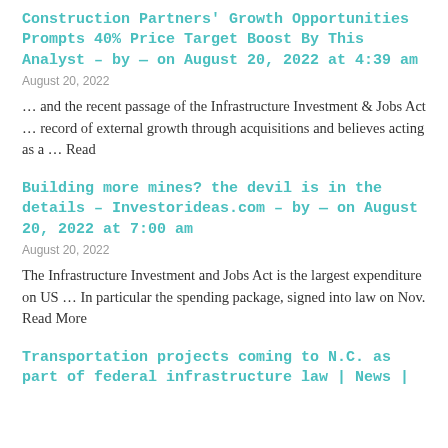Construction Partners' Growth Opportunities Prompts 40% Price Target Boost By This Analyst – by — on August 20, 2022 at 4:39 am
August 20, 2022
… and the recent passage of the Infrastructure Investment & Jobs Act … record of external growth through acquisitions and believes acting as a … Read
Building more mines? the devil is in the details – Investorideas.com – by — on August 20, 2022 at 7:00 am
August 20, 2022
The Infrastructure Investment and Jobs Act is the largest expenditure on US … In particular the spending package, signed into law on Nov. Read More
Transportation projects coming to N.C. as part of federal infrastructure law | News |